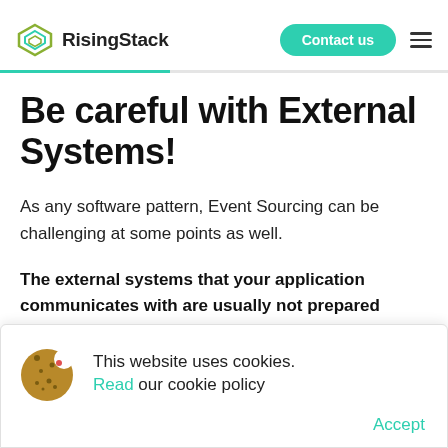RisingStack | Contact us
Be careful with External Systems!
As any software pattern, Event Sourcing can be challenging at some points as well.
The external systems that your application communicates with are usually not prepared
This website uses cookies. Read our cookie policy
Accept